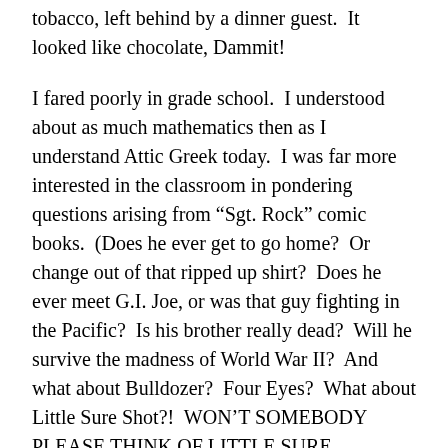tobacco, left behind by a dinner guest.  It looked like chocolate, Dammit!
I fared poorly in grade school.  I understood about as much mathematics then as I understand Attic Greek today.  I was far more interested in the classroom in pondering questions arising from “Sgt. Rock” comic books.  (Does he ever get to go home?  Or change out of that ripped up shirt?  Does he ever meet G.I. Joe, or was that guy fighting in the Pacific?  Is his brother really dead?  Will he survive the madness of World War II?  And what about Bulldozer?  Four Eyes?  What about Little Sure Shot?!  WON’T SOMEBODY PLEASE THINK OF LITTLE SURE SHOT!?!)
Math remained the bane of me, despite my mother’s best efforts.  The poor woman eventually hired a tutor for me.  But by then I was 14, and the patient blonde high school girl who came to our home was